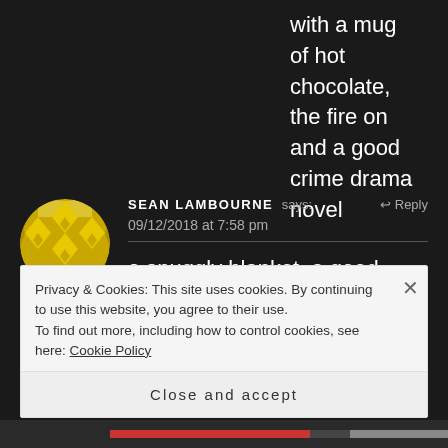with a mug of hot chocolate, the fire on and a good crime drama novel
[Figure (illustration): Circular avatar with gold/yellow geometric diamond pattern on white background]
SEAN LAMBOURNE says:
09/12/2018 at 7:58 pm
a snuggly blanket, a good book and a cup of hot milky coffee
Privacy & Cookies: This site uses cookies. By continuing to use this website, you agree to their use.
To find out more, including how to control cookies, see here: Cookie Policy
Close and accept